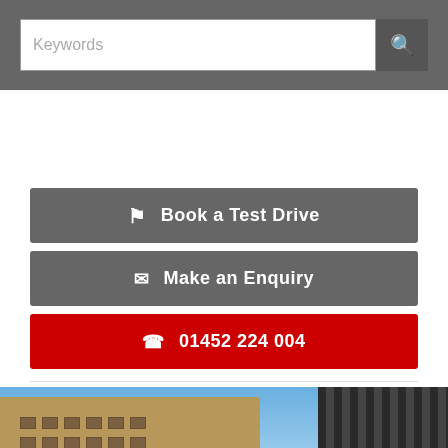[Figure (screenshot): Search bar with Keywords placeholder text and search icon button, on dark grey background]
Book a Test Drive
Make an Enquiry
01452 224 004
[Figure (photo): Red car parked in front of brick warehouse buildings, with reCAPTCHA overlay in bottom right corner. Sign on building reads DDLE WAREHOUSE.]